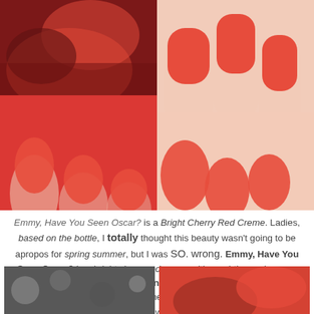[Figure (photo): Collage of three close-up photos of fingernails painted bright cherry red, arranged in a grid with two smaller photos on the left and one larger on the right]
Emmy, Have You Seen Oscar? is a Bright Cherry Red Creme. Ladies, based on the bottle, I totally thought this beauty wasn't going to be apropos for spring summer, but I was SO. WRONG. Emmy, Have You Seen Oscar? is a bright cherry red creme with a subtle coral orange undertone that makes it an excellent choice for summer manis + pedis! Formula is phenomenal. This one was just shy of a OCW, dried in minutes, and lasted for nine days with zero chips. Do not miss out on this one! This is 2 coats.
[Figure (photo): Two partial photos at bottom of page showing nail polish colors — left appears dark/glitter and right appears red/pink]